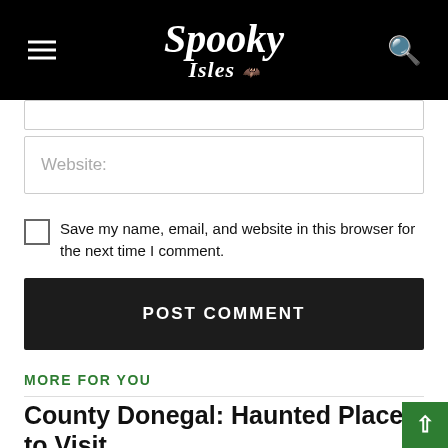Spooky Isles
Website:
Save my name, email, and website in this browser for the next time I comment.
POST COMMENT
MORE FOR YOU
County Donegal: Haunted Places to Visit
[Figure (photo): Vintage sepia photograph of a castle or historic building in County Donegal]
ANN MASSEY discovers five of County Donegal's most haunted locations.